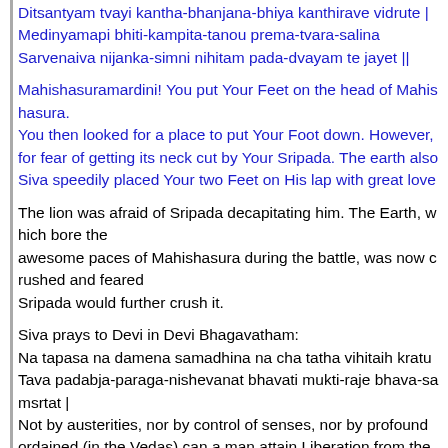Ditsantyam tvayi kantha-bhanjana-bhiya kanthirave vidrute | Medinyamapi bhiti-kampita-tanou prema-tvara-salina Sarvenaiva nijanka-simni nihitam pada-dvayam te jayet ||
Mahishasuramardini! You put Your Feet on the head of Mahishasura. You then looked for a place to put Your Foot down. However, the lion ran for fear of getting its neck cut by Your Sripada. The earth also shrank. Siva speedily placed Your two Feet on His lap with great love.
The lion was afraid of Sripada decapitating him. The Earth, which bore the awesome paces of Mahishasura during the battle, was now crushed and feared Sripada would further crush it.
Siva prays to Devi in Devi Bhagavatham: Na tapasa na damena samadhina na cha tatha vihitaih kratu Tava padabja-paraga-nishevanat bhavati mukti-raje bhava-samsrtat | Not by austerities, nor by control of senses, nor by profound meditation, nor by ordained (in the Vedas) can a man attain Liberation from the cycles of birth, but by wearing the dust of Your Lotus Feet.
48